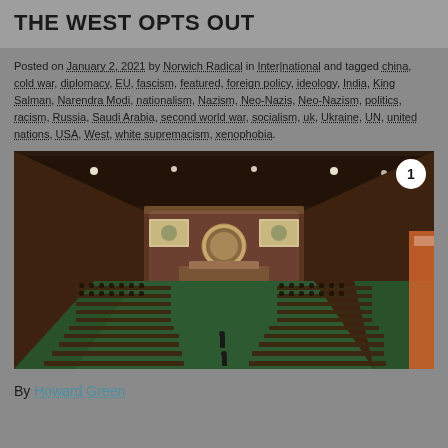THE WEST OPTS OUT
Posted on January 2, 2021 by Norwich Radical in Inter|national and tagged china, cold war, diplomacy, EU, fascism, featured, foreign policy, ideology, India, King Salman, Narendra Modi, nationalism, Nazism, Neo-Nazis, Neo-Nazism, politics, racism, Russia, Saudi Arabia, second world war, socialism, uk, Ukraine, UN, united nations, USA, West, white supremacism, xenophobia.
[Figure (photo): Interior of the United Nations General Assembly hall, showing the large curved chamber filled with delegates seated at rows of desks, with the UN emblem visible at the front podium area and screens on either side.]
By Howard Green